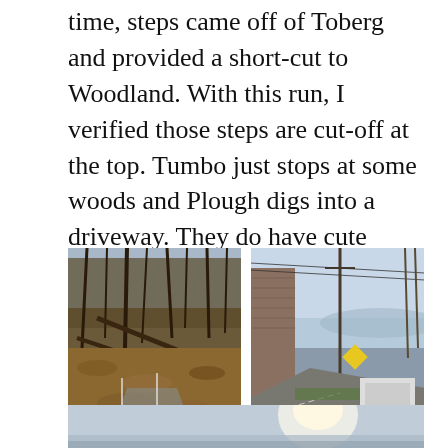time, steps came off of Toberg and provided a short-cut to Woodland. With this run, I verified those steps are cut-off at the top. Tumbo just stops at some woods and Plough digs into a driveway. They do have cute views, though.
[Figure (photo): Left photo showing end of Tumbo trail: wooded area with fallen leaves, bare trees, and a path ending at woods. Caption: End of Tumbo]
[Figure (photo): Right photo showing Plough street: a road curving past a brick building with a utility pole, trees, and a view of water/hills in the distance. Caption: Plough]
[Figure (photo): Bottom partial photo showing a bright sky/sun view, partially cut off at bottom of page.]